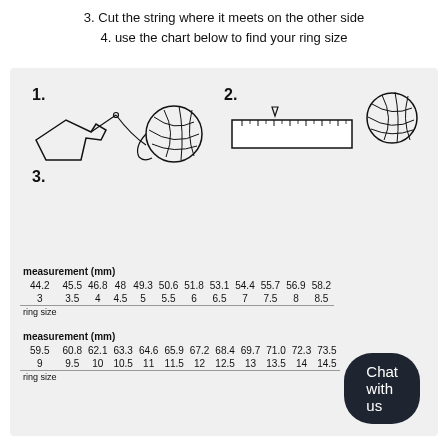3. Cut the string where it meets on the other side
4. use the chart below to find your ring size
[Figure (illustration): Instructional diagram with numbered steps 1, 2, 3. Step 1 shows a hand pointing and a ball of yarn. Step 2 shows a ruler with a yarn ball. Step 3 label only.]
| measurement (mm) |  |  |  |  |  |  |  |  |  |  |  |
| --- | --- | --- | --- | --- | --- | --- | --- | --- | --- | --- | --- |
| 44.2 | 45.5 | 46.8 | 48 | 49.3 | 50.6 | 51.8 | 53.1 | 54.4 | 55.7 | 56.9 | 58.2 |
| 3 | 3.5 | 4 | 4.5 | 5 | 5.5 | 6 | 6.5 | 7 | 7.5 | 8 | 8.5 |
| ring size |  |  |  |  |  |  |  |  |  |  |  |
| measurement (mm) |  |  |  |  |  |  |  |  |  |  |  |
| --- | --- | --- | --- | --- | --- | --- | --- | --- | --- | --- | --- |
| 59.5 | 60.8 | 62.1 | 63.3 | 64.6 | 65.9 | 67.2 | 68.4 | 69.7 | 71.0 | 72.3 | 73.5 |
| 9 | 9.5 | 10 | 10.5 | 11 | 11.5 | 12 | 12.5 | 13 | 13.5 | 14 | 14.5 |
| ring size |  |  |  |  |  |  |  |  |  |  |  |